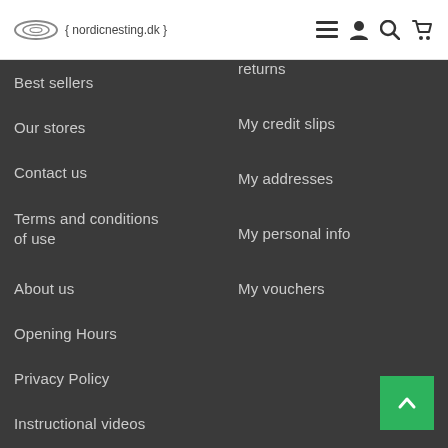nordicnesting.dk - navigation header
returns
Best sellers
My credit slips
Our stores
My addresses
Contact us
My personal info
Terms and conditions of use
My vouchers
About us
Opening Hours
Privacy Policy
Instructional videos